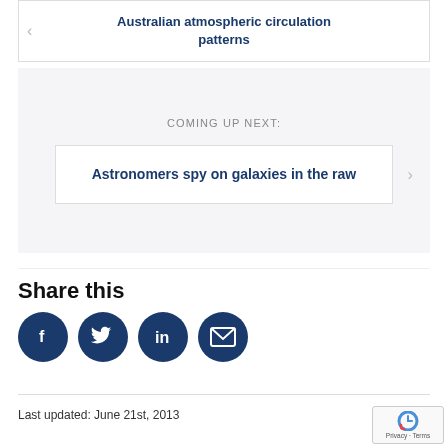< Australian atmospheric circulation patterns
COMING UP NEXT:
Astronomers spy on galaxies in the raw
Share this
[Figure (other): Social sharing icons: Facebook, Twitter, LinkedIn, Email — dark blue circular buttons]
Last updated: June 21st, 2013